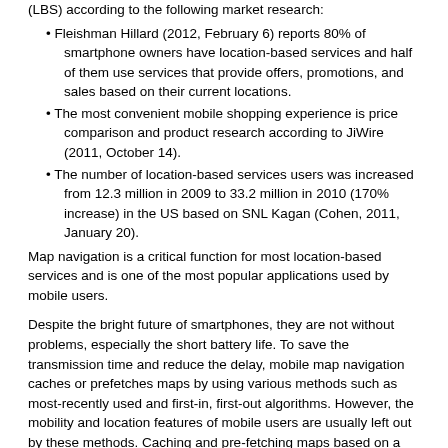(LBS) according to the following market research:
Fleishman Hillard (2012, February 6) reports 80% of smartphone owners have location-based services and half of them use services that provide offers, promotions, and sales based on their current locations.
The most convenient mobile shopping experience is price comparison and product research according to JiWire (2011, October 14).
The number of location-based services users was increased from 12.3 million in 2009 to 33.2 million in 2010 (170% increase) in the US based on SNL Kagan (Cohen, 2011, January 20).
Map navigation is a critical function for most location-based services and is one of the most popular applications used by mobile users.
Despite the bright future of smartphones, they are not without problems, especially the short battery life. To save the transmission time and reduce the delay, mobile map navigation caches or prefetches maps by using various methods such as most-recently used and first-in, first-out algorithms. However, the mobility and location features of mobile users are usually left out by these methods. Caching and pre-fetching maps based on a mobile user's locations would greatly reduce the transmission time and hence the battery power consumption. For example, if a user is visiting a town, prefetching the maps of nearby interesting stores and caching the maps of the visited, neighboring landmarks would enhance the user's visitation experience and save the transmission time. On the other hand, though map-related mobile applications are popular, the details of their design and implementation are still not known to most developers. This chapter tries to relieve the problem by explaining the map-related application design and implementation, especially map prefetching and caching, from a developer perspective. It studies the four